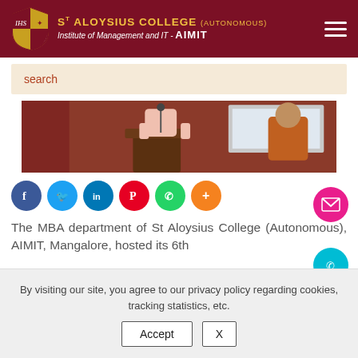St Aloysius College (Autonomous) Institute of Management and IT - AIMIT
search
[Figure (photo): A person standing at a podium/lectern at an event, with another person visible in the background near a screen.]
Social sharing icons: Facebook, Twitter, LinkedIn, Pinterest, WhatsApp, More
The MBA department of St Aloysius College (Autonomous), AIMIT, Mangalore, hosted its 6th
By visiting our site, you agree to our privacy policy regarding cookies, tracking statistics, etc.
Accept  X